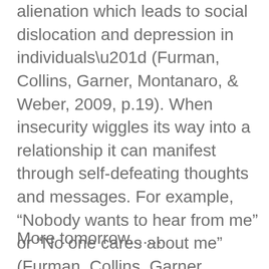alienation which leads to social dislocation and depression in individuals” (Furman, Collins, Garner, Montanaro, & Weber, 2009, p.19). When insecurity wiggles its way into a relationship it can manifest through self-defeating thoughts and messages. For example, “Nobody wants to hear from me” or “No one cares about me” (Furman, Collins, Garner, Montanaro, & Weber, 2009, p. 28).
More tomorrow........